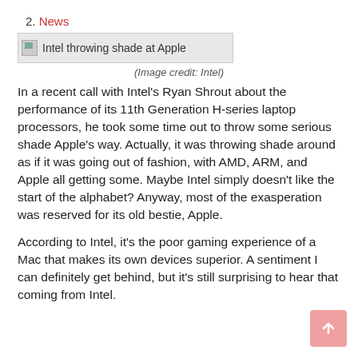2. News
[Figure (other): Broken image placeholder labeled 'Intel throwing shade at Apple']
(Image credit: Intel)
In a recent call with Intel’s Ryan Shrout about the performance of its 11th Generation H-series laptop processors, he took some time out to throw some serious shade Apple’s way. Actually, it was throwing shade around as if it was going out of fashion, with AMD, ARM, and Apple all getting some. Maybe Intel simply doesn’t like the start of the alphabet? Anyway, most of the exasperation was reserved for its old bestie, Apple.
According to Intel, it’s the poor gaming experience of a Mac that makes its own devices superior. A sentiment I can definitely get behind, but it’s still surprising to hear that coming from Intel.